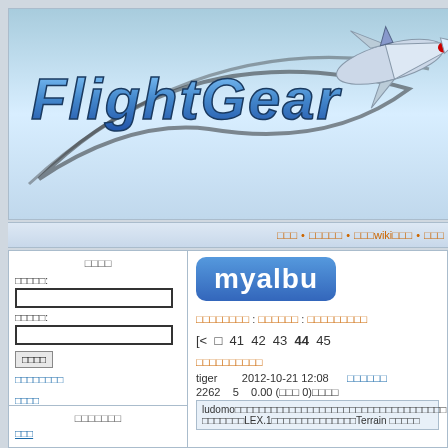[Figure (screenshot): FlightGear website header banner with logo text and airplane illustration on blue gradient background]
□□□ • □□□□□ • □□□wiki□□□ • □□□
□□□□
□□□□□: [text input field]
□□□□□: [password input field] [□□□□ button]
□□□□□□□□
□□□□
□□□□□□□
□□□
[Figure (logo): myalbu(ms) logo in blue rounded rectangle]
□□□□□□□□ : □□□□□□ : □□□□□□□□□
[< □ 41 42 43 44 45
□□□□□□□□□□
tiger  2012-10-21 12:08  □□□□□□
2262  5  0.00 (□□□ 0)□□□□
ludomo□□□□□□□□□□□□□□□□□□□□□□□□□□□□□□□□□□□
□□□□□□□LEX.1□□□□□□□□□□□□□□Terrain □□□□□